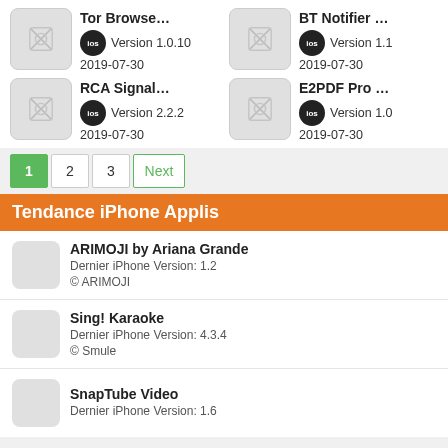Tor Browse... iOS Version 1.0.10 2019-07-30
BT Notifier ... iOS Version 1.1 2019-07-30
RCA Signal... iOS Version 2.2.2 2019-07-30
E2PDF Pro ... iOS Version 1.0 2019-07-30
1  2  3  Next
Tendance iPhone Applis
ARIMOJI by Ariana Grande
Dernier iPhone Version: 1.2
© ARIMOJI
Sing! Karaoke
Dernier iPhone Version: 4.3.4
© Smule
SnapTube Video
Dernier iPhone Version: 1.6